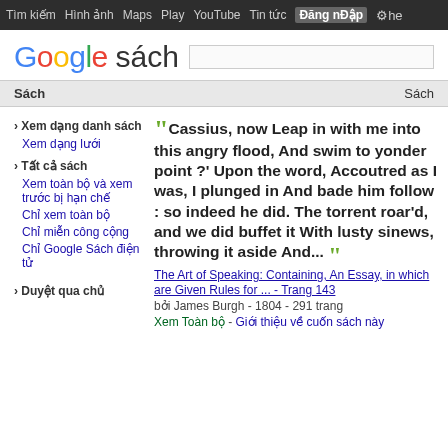Tìm kiếm  Hình ảnh  Maps  Play  YouTube  Tin tức  Đăng nhập  Cài đặt
Google sách
Sách    Sách
› Xem dạng danh sách
Xem dạng lưới
› Tất cả sách
Xem toàn bộ và xem trước bị hạn chế
Chỉ xem toàn bộ
Chỉ miễn công cộng
Chỉ Google Sách điện tử
" Cassius, now Leap in with me into this angry flood, And swim to yonder point ?' Upon the word, Accoutred as I was, I plunged in And bade him follow : so indeed he did. The torrent roar'd, and we did buffet it With lusty sinews, throwing it aside And... "
The Art of Speaking: Containing, An Essay, in which are Given Rules for ... - Trang 143
bởi James Burgh - 1804 - 291 trang
Xem Toàn bộ - Giới thiệu về cuốn sách này
Duyệt qua chủ